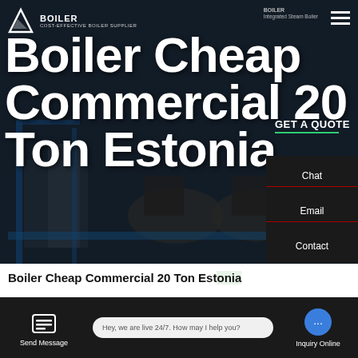[Figure (screenshot): Website screenshot of a boiler supplier page. Hero section shows large white bold text 'Boiler Cheap Commercial 20 Ton Estonia' overlaid on a dark industrial background image with boiler equipment. Navigation bar with logo, 'COST-EFFECTIVE BOILER SUPPLIER' tagline, and hamburger menu visible.]
Boiler Cheap Commercial 20 Ton Estonia
Boiler Cheap Commercial 20 Ton Estonia
HOT NEWS
Contact us now!
Send Message   Hey, we are live 24/7. How may I help you?   Inquiry Online